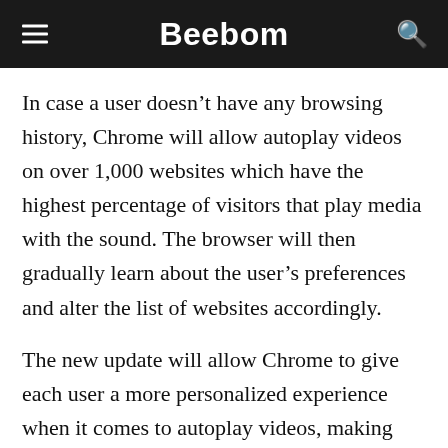Beebom
In case a user doesn’t have any browsing history, Chrome will allow autoplay videos on over 1,000 websites which have the highest percentage of visitors that play media with the sound. The browser will then gradually learn about the user’s preferences and alter the list of websites accordingly.
The new update will allow Chrome to give each user a more personalized experience when it comes to autoplay videos, making their browsing experience more seamless and predictable. Pallett highlights that users might have to hit the play button from time to time which might seem annoying at first, but the new